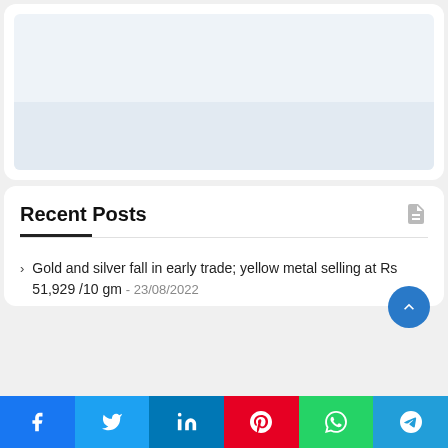[Figure (other): Light blue placeholder card with a slightly darker blue-grey rectangular area at the bottom, representing an advertisement or embedded content area.]
Recent Posts
Gold and silver fall in early trade; yellow metal selling at Rs 51,929 /10 gm - 23/08/2022